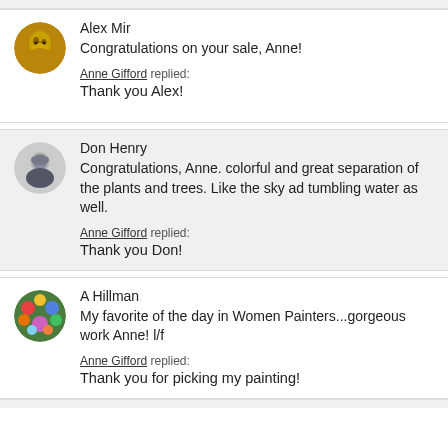Alex Mir
Congratulations on your sale, Anne!

Anne Gifford replied:
Thank you Alex!
Don Henry
Congratulations, Anne. colorful and great separation of the plants and trees. Like the sky ad tumbling water as well.

Anne Gifford replied:
Thank you Don!
A Hillman
My favorite of the day in Women Painters...gorgeous work Anne! l/f

Anne Gifford replied:
Thank you for picking my painting!